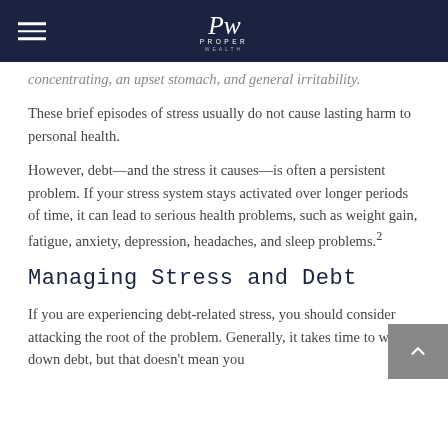Proper Wealth
concentrating, an upset stomach, and general irritability.
These brief episodes of stress usually do not cause lasting harm to personal health.
However, debt—and the stress it causes—is often a persistent problem. If your stress system stays activated over longer periods of time, it can lead to serious health problems, such as weight gain, fatigue, anxiety, depression, headaches, and sleep problems.²
Managing Stress and Debt
If you are experiencing debt-related stress, you should consider attacking the root of the problem. Generally, it takes time to work down debt, but that doesn't mean you